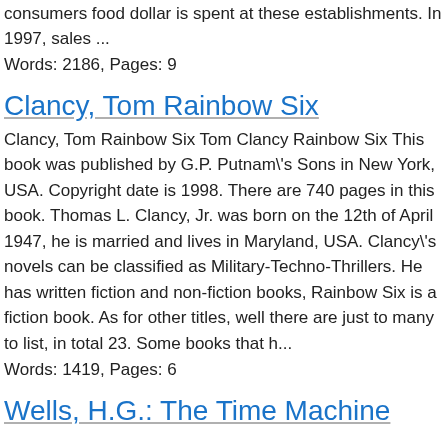consumers food dollar is spent at these establishments. In 1997, sales ...
Words: 2186, Pages: 9
Clancy, Tom Rainbow Six
Clancy, Tom Rainbow Six Tom Clancy Rainbow Six This book was published by G.P. Putnam\'s Sons in New York, USA. Copyright date is 1998. There are 740 pages in this book. Thomas L. Clancy, Jr. was born on the 12th of April 1947, he is married and lives in Maryland, USA. Clancy\'s novels can be classified as Military-Techno-Thrillers. He has written fiction and non-fiction books, Rainbow Six is a fiction book. As for other titles, well there are just to many to list, in total 23. Some books that h...
Words: 1419, Pages: 6
Wells, H.G.: The Time Machine